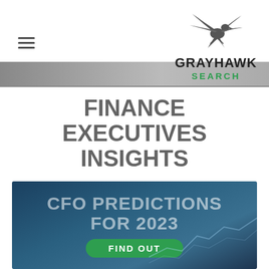[Figure (logo): Grayhawk Search logo with eagle and company name]
FINANCE EXECUTIVES INSIGHTS
[Figure (infographic): CFO Predictions for 2023 banner with dark blue background, line chart graphic, and green FIND OUT button]